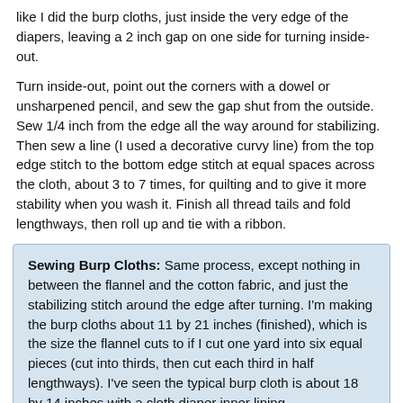like I did the burp cloths, just inside the very edge of the diapers, leaving a 2 inch gap on one side for turning inside-out.
Turn inside-out, point out the corners with a dowel or unsharpened pencil, and sew the gap shut from the outside. Sew 1/4 inch from the edge all the way around for stabilizing. Then sew a line (I used a decorative curvy line) from the top edge stitch to the bottom edge stitch at equal spaces across the cloth, about 3 to 7 times, for quilting and to give it more stability when you wash it. Finish all thread tails and fold lengthways, then roll up and tie with a ribbon.
Sewing Burp Cloths: Same process, except nothing in between the flannel and the cotton fabric, and just the stabilizing stitch around the edge after turning. I'm making the burp cloths about 11 by 21 inches (finished), which is the size the flannel cuts to if I cut one yard into six equal pieces (cut into thirds, then cut each third in half lengthways). I've seen the typical burp cloth is about 18 by 14 inches with a cloth diaper inner lining